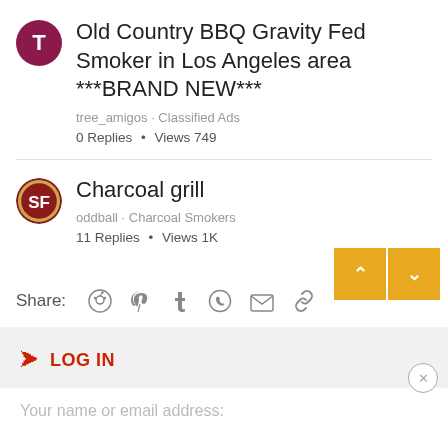Old Country BBQ Gravity Fed Smoker in Los Angeles area ***BRAND NEW*** · tree_amigos · Classified Ads · 0 Replies · Views 749
Charcoal grill · oddball · Charcoal Smokers · 11 Replies · Views 1K
Share: (reddit)(pinterest)(tumblr)(whatsapp)(email)(link)
LOG IN
Your name or email address: